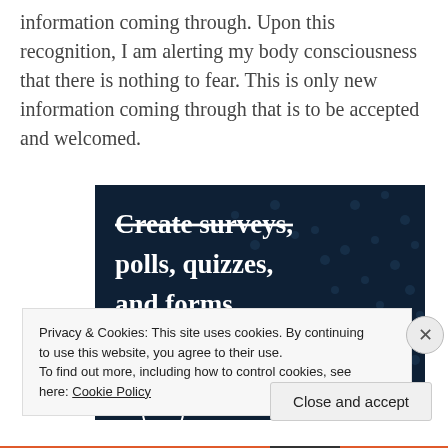information coming through. Upon this recognition, I am alerting my body consciousness that there is nothing to fear. This is only new information coming through that is to be accepted and welcomed.
[Figure (screenshot): Crowd Signal advertisement banner with dark navy background showing text 'Create surveys, polls, quizzes, and forms.' with a pink 'Start now' button and the Crowd Signal logo in the bottom right corner.]
Privacy & Cookies: This site uses cookies. By continuing to use this website, you agree to their use.
To find out more, including how to control cookies, see here: Cookie Policy
Close and accept